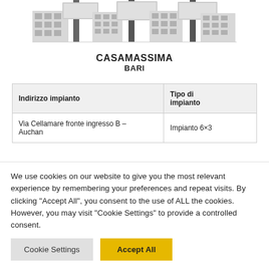[Figure (illustration): Stylized illustration of buildings/billboard structures in grey tones]
CASAMASSIMA
BARI
| Indirizzo impianto | Tipo di impianto |
| --- | --- |
| Via Cellamare fronte ingresso B – Auchan | Impianto 6×3 |
We use cookies on our website to give you the most relevant experience by remembering your preferences and repeat visits. By clicking "Accept All", you consent to the use of ALL the cookies. However, you may visit "Cookie Settings" to provide a controlled consent.